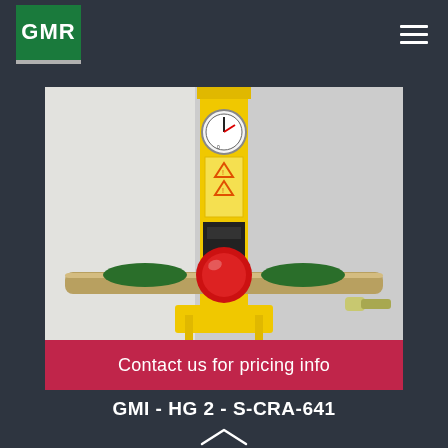GMR
[Figure (photo): Industrial gas equipment – a yellow vertical pipe/column with a pressure gauge at the top, warning labels, and a horizontal crossbar with green and red valve handles, mounted on a yellow base frame. Background is a white wall.]
Contact us for pricing info
GMI - HG 2 - S-CRA-641